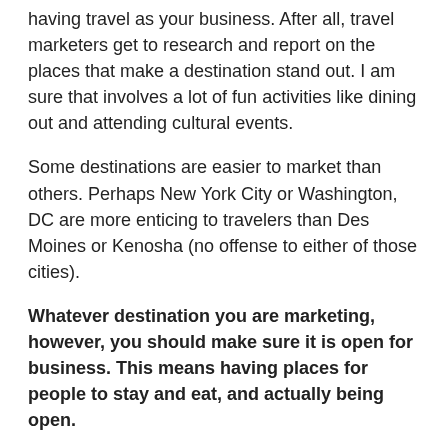having travel as your business. After all, travel marketers get to research and report on the places that make a destination stand out. I am sure that involves a lot of fun activities like dining out and attending cultural events.
Some destinations are easier to market than others. Perhaps New York City or Washington, DC are more enticing to travelers than Des Moines or Kenosha (no offense to either of those cities).
Whatever destination you are marketing, however, you should make sure it is open for business. This means having places for people to stay and eat, and actually being open.
Yesterday, I went to Hagerstown, Maryland. My destination was not the city of Hagerstown, but rather the Premium Outlets located there. Once I was done shopping, I decided to check out “Historic Downtown Hagerstown.” I figured I would stop by the visitor center to get some information about what made Hagerstown historic and then perhaps get a refreshment of some sort.